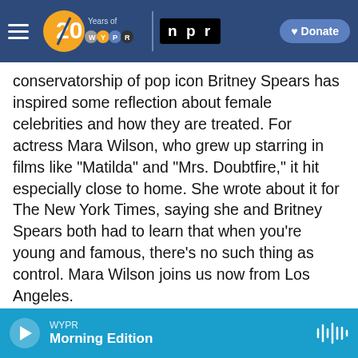WYPR 20 Years of WYPR | npr | Donate
conservatorship of pop icon Britney Spears has inspired some reflection about female celebrities and how they are treated. For actress Mara Wilson, who grew up starring in films like "Matilda" and "Mrs. Doubtfire," it hit especially close to home. She wrote about it for The New York Times, saying she and Britney Spears both had to learn that when you're young and famous, there's no such thing as control. Mara Wilson joins us now from Los Angeles.
Welcome to the program.
MARA WILSON: Thank you so much for having me.
WYPR | Morning Edition